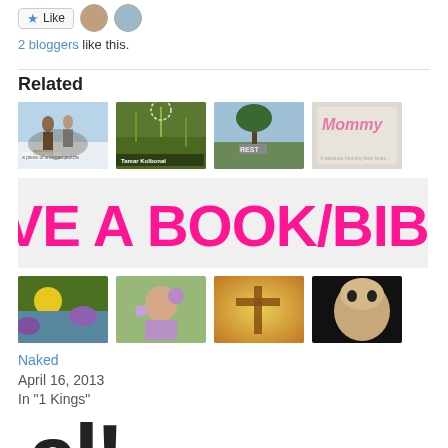[Figure (other): Like button with star icon and two blogger avatar photos]
2 bloggers like this.
Related
[Figure (photo): Grid of related post thumbnail images: two people in snow, grass/dandelion, tree with REST bench sign, Mommy text on cloth]
[Figure (other): Pink bold text banner reading GIVE A BOOK/BIBLE]
[Figure (photo): Four more thumbnail images: dandelion/flowers, girl with flowers, cross/golden light, child face]
Naked
April 16, 2013
In "1 Kings"
[Figure (other): Partial large black hand-lettered text visible at bottom of page]